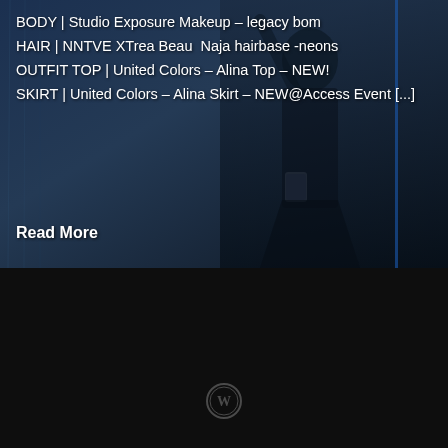[Figure (photo): Dark blue-toned photo of a virtual avatar/character in a dark room with neon accents, wearing a black outfit]
BODY | Studio Exposure Makeup – legacy bom
HAIR | NNTVE XTrea Beau  Naja hairbase -neons
OUTFIT TOP | United Colors – Alina Top – NEW!
SKIRT | United Colors – Alina Skirt – NEW@Access Event [...]
Read More
[Figure (logo): WordPress logo (circular W icon) in dark gray on black background]